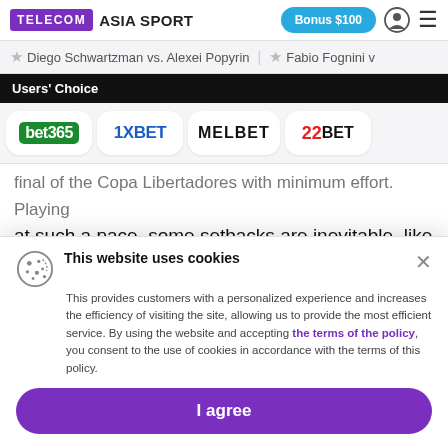TELECOM ASIA SPORT | Bonus $100
Diego Schwartzman vs. Alexei Popyrin | Fabio Fognini v
Users' Choice
[Figure (logo): Bookmaker logos row: bet365, 1XBET, MELBET, 22BET]
final of the Copa Libertadores with minimum effort. Playing at such a pace, some setbacks are inevitable, like the game against Internacional was. The loss was unpleasant and painful, but not critical: Bragantino had a draw in the round, and Palmeiras lost. However, Atlético Mineiro
This website uses cookies
This provides customers with a personalized experience and increases the efficiency of visiting the site, allowing us to provide the most efficient service. By using the website and accepting the terms of the policy, you consent to the use of cookies in accordance with the terms of this policy.
I agree